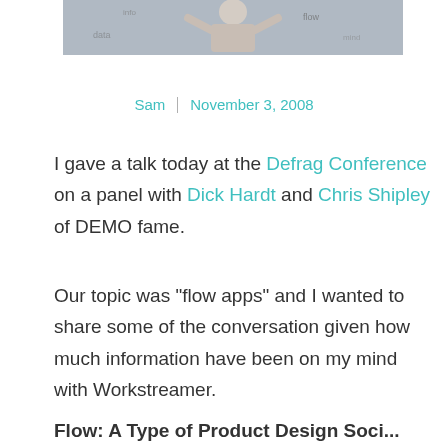[Figure (photo): Cropped photo of a person holding their head with hands, surrounded by scribbled text/math on a whiteboard background]
Sam | November 3, 2008
I gave a talk today at the Defrag Conference on a panel with Dick Hardt and Chris Shipley of DEMO fame.
Our topic was “flow apps” and I wanted to share some of the conversation given how much information have been on my mind with Workstreamer.
Flow: A Type of Product Design Social...